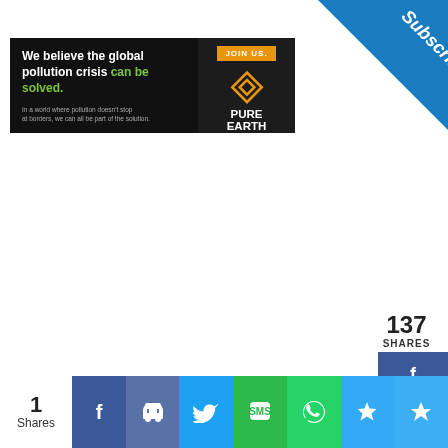[Figure (screenshot): Subscribe ribbon in top-right corner, blue diagonal banner with white italic text 'Subscribe']
[Figure (screenshot): Pure Earth advertisement banner: dark background left side with white bold text 'We believe the global pollution crisis can be solved.' in green, small grey subtext 'In a world where pollution doesn't stop at borders, we can all be part of the solution.' Right side shows orange 'JOIN US.' button and Pure Earth diamond logo with organization name in white.]
137
SHARES
[Figure (screenshot): Facebook share button, blue background with f icon and count 136]
[Figure (screenshot): Twitter share button, light blue background with bird icon]
[Figure (screenshot): Pinterest share button, red background with P icon and count 1]
No compatible source was found for this media.
Continue Reading
SUMMER PLANT CARE GUIDE | HOW TO KEEP PLANTS SAFE FROM THE HEAT
Easy On-The-Go Options For You
1
Shares
[Figure (screenshot): Bottom social sharing bar with icons: Facebook (blue), Thumbs up/Like (blue), Twitter (light blue), SMS (green), WhatsApp (green), Star/Bookmark (blue), Crown (blue)]